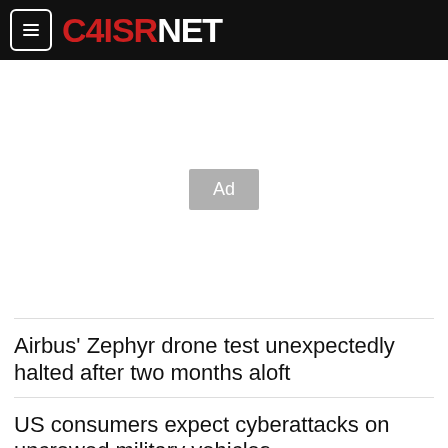C4ISRNET
[Figure (other): Ad placeholder box with text 'Ad']
Airbus' Zephyr drone test unexpectedly halted after two months aloft
US consumers expect cyberattacks on uncrewed military vehicles